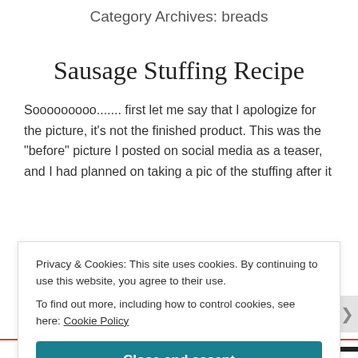Category Archives: breads
Sausage Stuffing Recipe
Sooooooooo....... first let me say that I apologize for the picture, it's not the finished product. This was the "before" picture I posted on social media as a teaser, and I had planned on taking a pic of the stuffing after it
Privacy & Cookies: This site uses cookies. By continuing to use this website, you agree to their use.
To find out more, including how to control cookies, see here: Cookie Policy
Close and accept